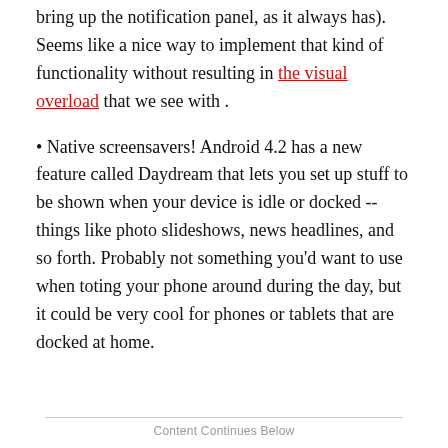bring up the notification panel, as it always has). Seems like a nice way to implement that kind of functionality without resulting in the visual overload that we see with .
• Native screensavers! Android 4.2 has a new feature called Daydream that lets you set up stuff to be shown when your device is idle or docked -- things like photo slideshows, news headlines, and so forth. Probably not something you'd want to use when toting your phone around during the day, but it could be very cool for phones or tablets that are docked at home.
Content Continues Below